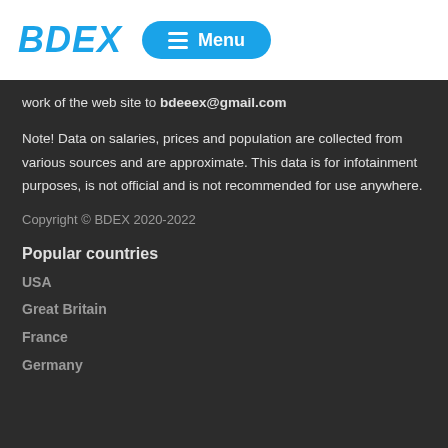BDEX Menu
work of the web site to bdeeex@gmail.com
Note! Data on salaries, prices and population are collected from various sources and are approximate. This data is for infotainment purposes, is not official and is not recommended for use anywhere.
Copyright © BDEX 2020-2022
Popular countries
USA
Great Britain
France
Germany